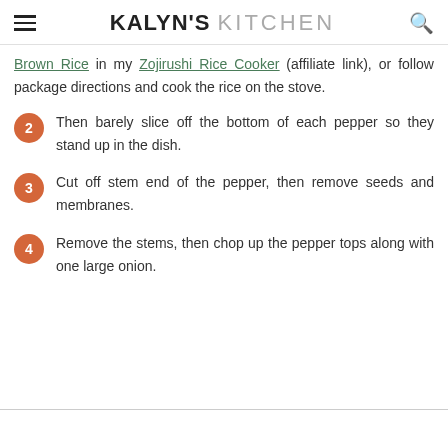KALYN'S KITCHEN
Brown Rice in my Zojirushi Rice Cooker (affiliate link), or follow package directions and cook the rice on the stove.
2. Then barely slice off the bottom of each pepper so they stand up in the dish.
3. Cut off stem end of the pepper, then remove seeds and membranes.
4. Remove the stems, then chop up the pepper tops along with one large onion.